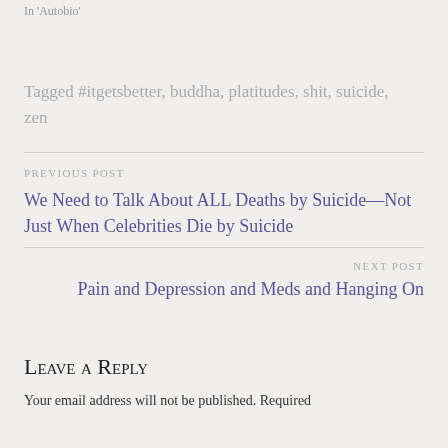In 'Autobio'
Tagged #itgetsbetter, buddha, platitudes, shit, suicide, zen
PREVIOUS POST
We Need to Talk About ALL Deaths by Suicide—Not Just When Celebrities Die by Suicide
NEXT POST
Pain and Depression and Meds and Hanging On
Leave a Reply
Your email address will not be published. Required